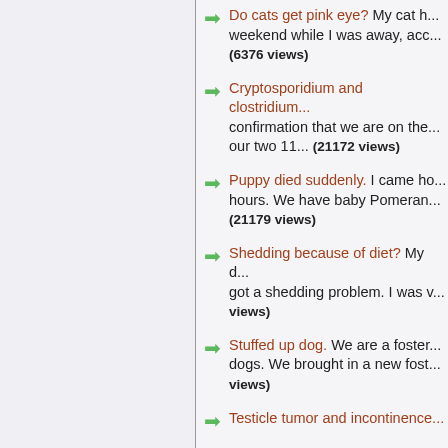Do cats get pink eye? My cat h... weekend while I was away, acc... (6376 views)
Cryptosporidium and clostridium... confirmation that we are on the... our two 11... (21172 views)
Puppy died suddenly. I came ho... hours. We have baby Pomeran... (21179 views)
Shedding because of diet? My d... got a shedding problem. I was v... views)
Stuffed up dog. We are a foster... dogs. We brought in a new fost... views)
Testicle tumor and incontinence...